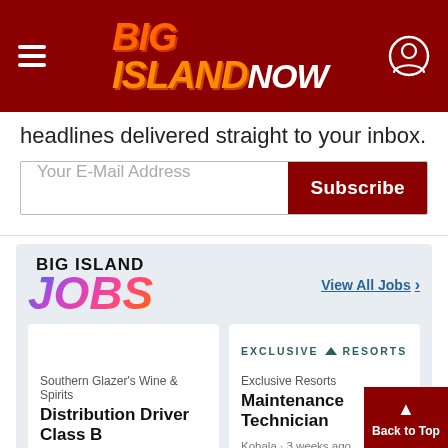Big Island Now
headlines delivered straight to your inbox.
Your E-Mail Address
Subscribe
[Figure (logo): Big Island Jobs logo with colorful gradient text]
View All Jobs >
Southern Glazer's Wine & Spirits
Distribution Driver Class B
Kohala · 4 weeks ago
[Figure (logo): Exclusive Resorts logo text]
Exclusive Resorts
Maintenance Technician
Kohala · 3 weeks ago
▲ Back to Top